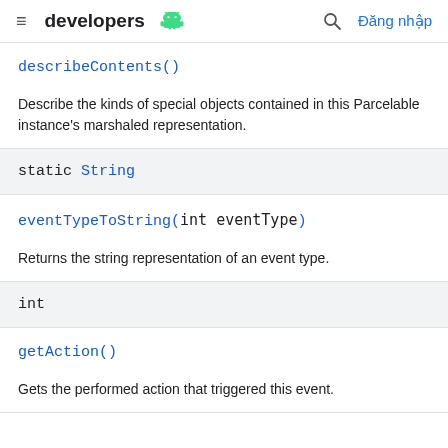developers [android logo] [search icon] Đăng nhập
describeContents()
Describe the kinds of special objects contained in this Parcelable instance's marshaled representation.
static String
eventTypeToString(int eventType)
Returns the string representation of an event type.
int
getAction()
Gets the performed action that triggered this event.